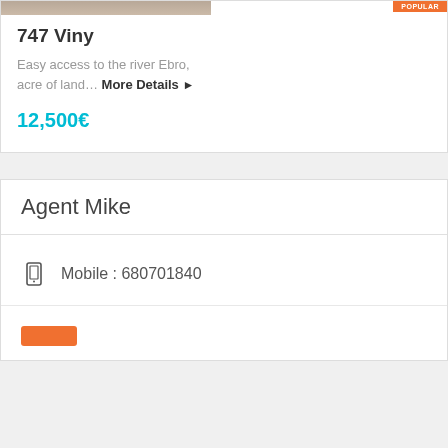[Figure (photo): Partial top of a property image with orange Popular badge in top right corner]
747 Viny
Easy access to the river Ebro, acre of land… More Details ▶
12,500€
Agent Mike
Mobile : 680701840